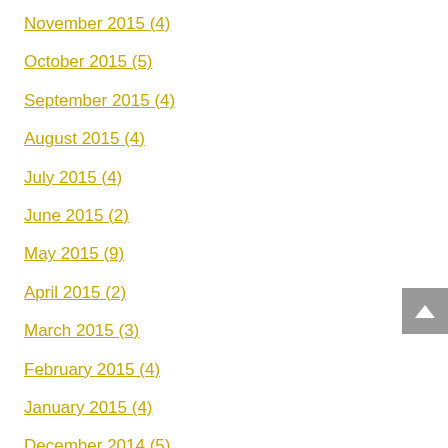November 2015 (4)
October 2015 (5)
September 2015 (4)
August 2015 (4)
July 2015 (4)
June 2015 (2)
May 2015 (9)
April 2015 (2)
March 2015 (3)
February 2015 (4)
January 2015 (4)
December 2014 (5)
RECENT POSTS